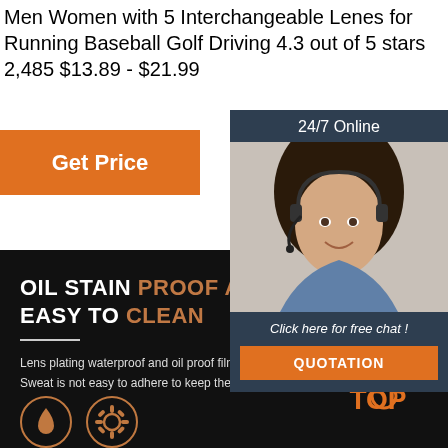Men Women with 5 Interchangeable Lenes for Running Baseball Golf Driving 4.3 out of 5 stars 2,485 $13.89 - $21.99
Get Price
[Figure (photo): 24/7 Online customer support chat widget with woman wearing headset, 'Click here for free chat!' text and QUOTATION button]
OIL STAIN PROOF AND EASY TO CLEAN
Lens plating waterproof and oil proof film
Sweat is not easy to adhere to keep the lens clear
[Figure (illustration): TOP badge logo in orange with dots above]
[Figure (illustration): Two circular icons at bottom - water drop and gear/settings icon]